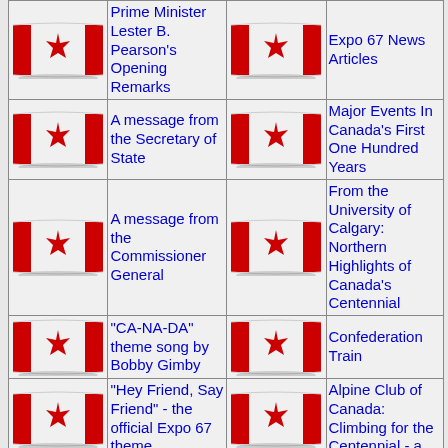Prime Minister Lester B. Pearson's Opening Remarks
Expo 67 News Articles
A message from the Secretary of State
Major Events In Canada's First One Hundred Years
A message from the Commissioner General
From the University of Calgary: Northern Highlights of Canada's Centennial
"CA-NA-DA" theme song by Bobby Gimby
Confederation Train
"Hey Friend, Say Friend" - the official Expo 67 theme
Alpine Club of Canada: Climbing for the Centennial - a